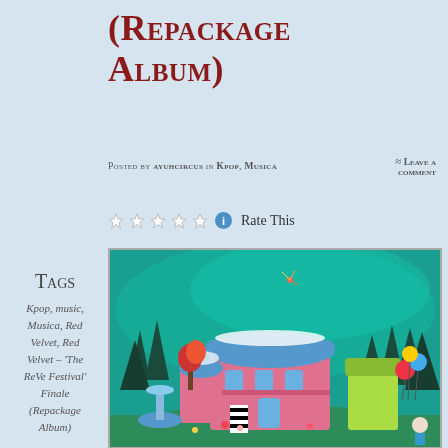(Repackage Album)
Posted by ayuhcircus in Kpop, Musica
≈ Leave a comment
Rate This
Tags
Kpop, music, Musica, Red Velvet, Red Velvet – 'The ReVe Festival' Finale (Repackage Album)
[Figure (illustration): Colorful illustrated album art for Red Velvet 'The ReVe Festival' Finale, showing a fantasy carnival scene with a pink building, teal sky, trees, balloons, and various whimsical elements.]